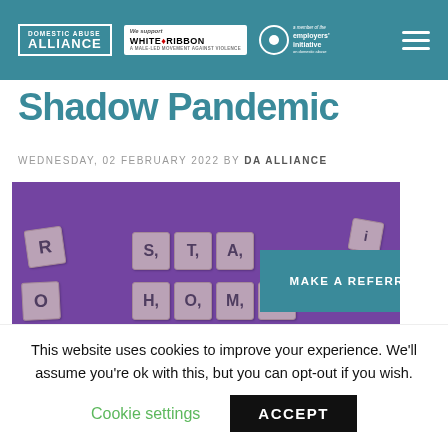DOMESTIC ABUSE ALLIANCE | We support WHITE RIBBON | employers' initiative on domestic abuse
Shadow Pandemic
WEDNESDAY, 02 FEBRUARY 2022 BY DA ALLIANCE
[Figure (photo): Scrabble tiles spelling STAY HOME on a purple background, with a teal 'MAKE A REFERRAL' button overlay]
This website uses cookies to improve your experience. We'll assume you're ok with this, but you can opt-out if you wish.
Cookie settings   ACCEPT